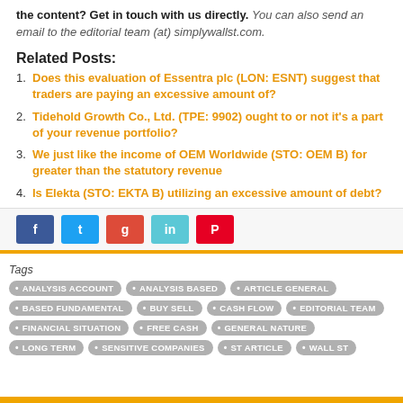the content? Get in touch with us directly. You can also send an email to the editorial team (at) simplywallst.com.
Related Posts:
1. Does this evaluation of Essentra plc (LON: ESNT) suggest that traders are paying an excessive amount of?
2. Tidehold Growth Co., Ltd. (TPE: 9902) ought to or not it's a part of your revenue portfolio?
3. We just like the income of OEM Worldwide (STO: OEM B) for greater than the statutory revenue
4. Is Elekta (STO: EKTA B) utilizing an excessive amount of debt?
[Figure (infographic): Social share buttons: Facebook (dark blue), Twitter (light blue), Google Plus (red), LinkedIn (cyan), Pinterest (red)]
Tags: ANALYSIS ACCOUNT • ANALYSIS BASED • ARTICLE GENERAL • BASED FUNDAMENTAL • BUY SELL • CASH FLOW • EDITORIAL TEAM • FINANCIAL SITUATION • FREE CASH • GENERAL NATURE • LONG TERM • SENSITIVE COMPANIES • ST ARTICLE • WALL ST